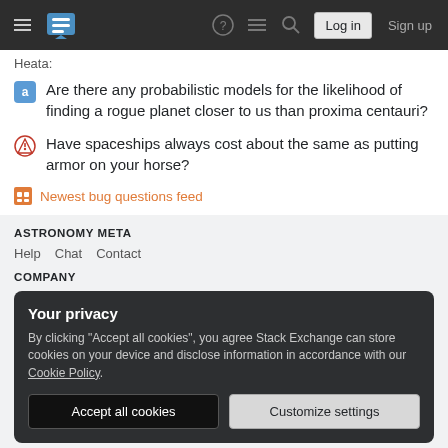Stack Exchange navigation bar with Log in and Sign up buttons
Heata:
Are there any probabilistic models for the likelihood of finding a rogue planet closer to us than proxima centauri?
Have spaceships always cost about the same as putting armor on your horse?
Newest bug questions feed
ASTRONOMY META
Help  Chat  Contact
COMPANY
Your privacy
By clicking "Accept all cookies", you agree Stack Exchange can store cookies on your device and disclose information in accordance with our Cookie Policy.
Accept all cookies  Customize settings